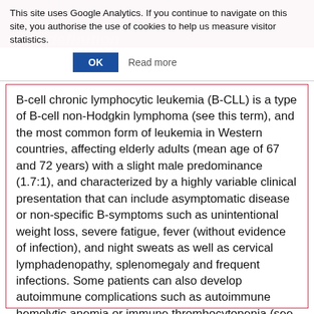This site uses Google Analytics. If you continue to navigate on this site, you authorise the use of cookies to help us measure visitor statistics.
ease definition
B-cell chronic lymphocytic leukemia (B-CLL) is a type of B-cell non-Hodgkin lymphoma (see this term), and the most common form of leukemia in Western countries, affecting elderly adults (mean age of 67 and 72 years) with a slight male predominance (1.7:1), and characterized by a highly variable clinical presentation that can include asymptomatic disease or non-specific B-symptoms such as unintentional weight loss, severe fatigue, fever (without evidence of infection), and night sweats as well as cervical lymphadenopathy, splenomegaly and frequent infections. Some patients can also develop autoimmune complications such as autoimmune hemolytic anemia or immune thrombocytopenia (see these terms). The clinical course is extremely heterogeneous with survival ranging from a few months to several decades.